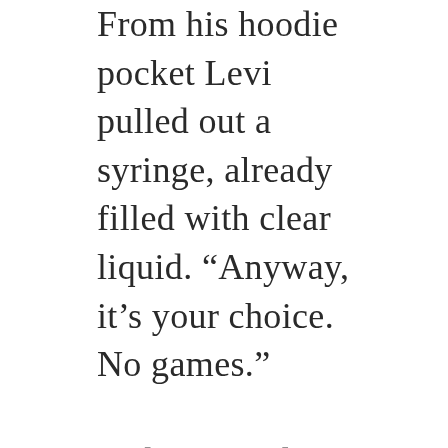From his hoodie pocket Levi pulled out a syringe, already filled with clear liquid. “Anyway, it’s your choice. No games.”

“I don’t need your pity,” Ian said, eyes